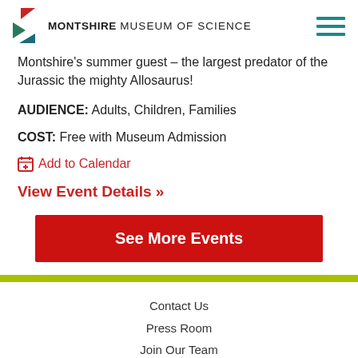MONTSHIRE MUSEUM OF SCIENCE
Montshire's summer guest – the largest predator of the Jurassic the mighty Allosaurus!
AUDIENCE: Adults, Children, Families
COST: Free with Museum Admission
Add to Calendar
View Event Details »
See More Events
Contact Us
Press Room
Join Our Team
Rent the Museum
Trustee and Staff Login